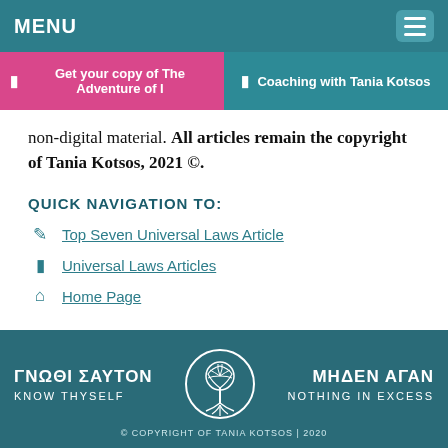MENU
Get your copy of The Adventure of I
Coaching with Tania Kotsos
non-digital material. All articles remain the copyright of Tania Kotsos, 2021 ©.
QUICK NAVIGATION TO:
Top Seven Universal Laws Article
Universal Laws Articles
Home Page
ΓΝΩΘΙ ΣΑΥΤΟΝ KNOW THYSELF | ΜΗΔΕΝ ΑΓΑΝ NOTHING IN EXCESS | © COPYRIGHT OF TANIA KOTSOS | 2020